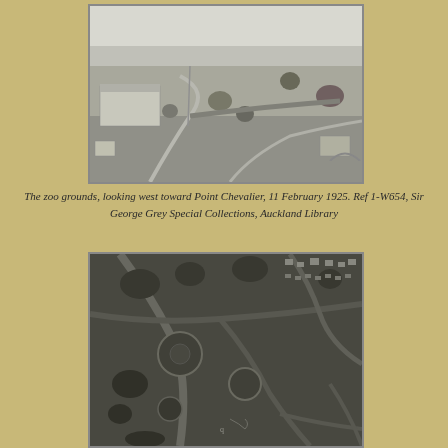[Figure (photo): Black and white aerial/elevated photograph of zoo grounds looking west toward Point Chevalier, 11 February 1925. Shows open landscape with paths, buildings, and trees.]
The zoo grounds, looking west toward Point Chevalier, 11 February 1925. Ref 1-W654, Sir George Grey Special Collections, Auckland Library
[Figure (photo): Black and white aerial photograph of zoo grounds showing enclosures, paths, and surrounding suburban area with trees and roads.]